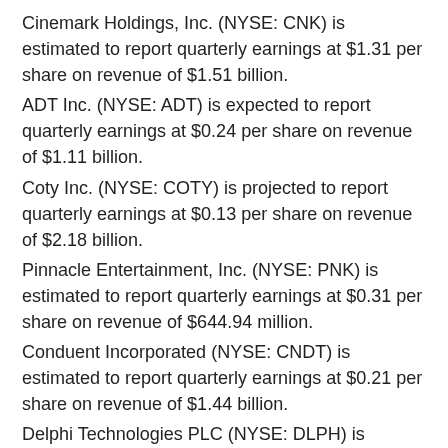Cinemark Holdings, Inc. (NYSE: CNK) is estimated to report quarterly earnings at $1.31 per share on revenue of $1.51 billion.
ADT Inc. (NYSE: ADT) is expected to report quarterly earnings at $0.24 per share on revenue of $1.11 billion.
Coty Inc. (NYSE: COTY) is projected to report quarterly earnings at $0.13 per share on revenue of $2.18 billion.
Pinnacle Entertainment, Inc. (NYSE: PNK) is estimated to report quarterly earnings at $0.31 per share on revenue of $644.94 million.
Conduent Incorporated (NYSE: CNDT) is estimated to report quarterly earnings at $0.21 per share on revenue of $1.44 billion.
Delphi Technologies PLC (NYSE: DLPH) is projected to report quarterly earnings at $1.16 per share on revenue of $1.25 billion.
Office Depot, Inc. (NASDAQ: ODP) is expected to